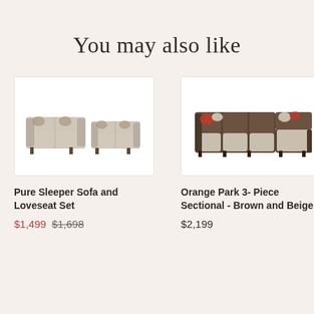You may also like
[Figure (photo): Beige sofa and loveseat set with patterned throw pillows]
[Figure (photo): Brown and beige L-shaped sectional sofa with chaise and decorative pillows]
Pure Sleeper Sofa and Loveseat Set
$1,499  $1,698
Orange Park 3- Piece Sectional - Brown and Beige
$2,199